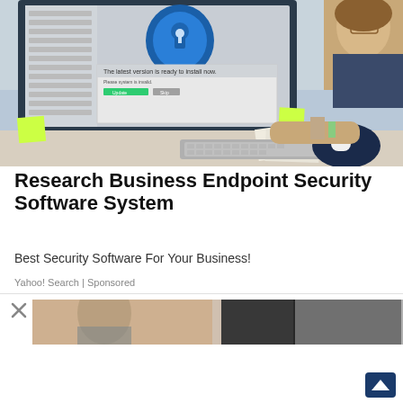[Figure (photo): Person at a desk working on a computer monitor displaying a security software update popup with a blue shield icon. The screen shows 'The latest version is ready to install now.' with a green install button. Office desk environment with keyboard, mouse pad, and supplies visible.]
Research Business Endpoint Security Software System
Best Security Software For Your Business!
Yahoo! Search | Sponsored
[Figure (photo): Partial view of a second advertisement image showing a blurred person in an office setting.]